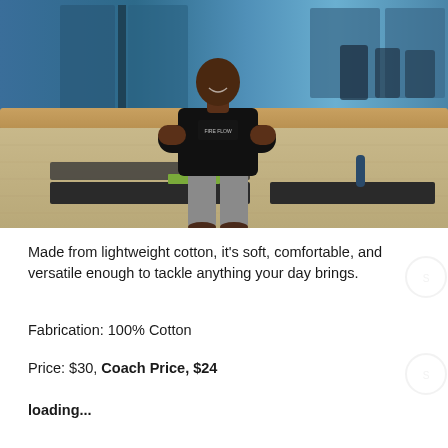[Figure (photo): A man in a black t-shirt and grey pants standing with arms crossed in a professional gym studio with yoga mats on the floor, blue studio walls and mirrors in background]
Made from lightweight cotton, it's soft, comfortable, and versatile enough to tackle anything your day brings.
Fabrication: 100% Cotton
Price: $30, Coach Price, $24
loading...